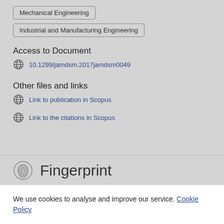Mechanical Engineering
Industrial and Manufacturing Engineering
Access to Document
10.1299/jamdsm.2017jamdsm0049
Other files and links
Link to publication in Scopus
Link to the citations in Scopus
Fingerprint
We use cookies to analyse and improve our service. Cookie Policy